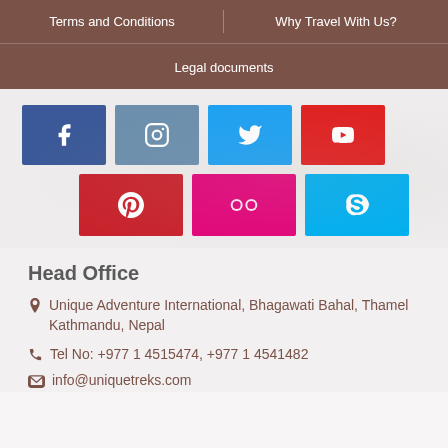Terms and Conditions | Why Travel With Us?
Legal documents
[Figure (infographic): Seven social media icon buttons: Facebook (dark blue), Instagram (steel blue), Twitter (light blue), YouTube (red) in top row; Pinterest (red), Flickr (magenta), Skype (light blue) in second row]
Head Office
Unique Adventure International, Bhagawati Bahal, Thamel Kathmandu, Nepal
Tel No: +977 1 4515474, +977 1 4541482
info@uniquetreks.com